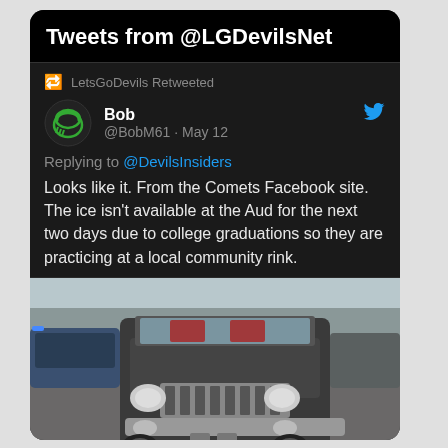Tweets from @LGDevilsNet
LetsGoDevils Retweeted
Bob @BobM61 · May 12
Replying to @DevilsInsiders
Looks like it.  From the Comets Facebook site.  The ice isn't available at the Aud for the next two days due to college graduations so they are practicing at a local community rink.
[Figure (photo): A Jeep Wrangler driving in a parking lot with people in graduation attire visible inside, other cars visible in background]